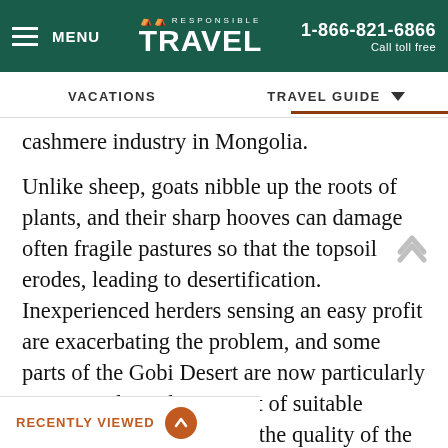MENU | RESPONSIBLE TRAVEL | 1-866-821-6866 Call toll free
VACATIONS | TRAVEL GUIDE
cashmere industry in Mongolia.
Unlike sheep, goats nibble up the roots of plants, and their sharp hooves can damage often fragile pastures so that the topsoil erodes, leading to desertification. Inexperienced herders sensing an easy profit are exacerbating the problem, and some parts of the Gobi Desert are now particularly overgrazed. As the amount of suitable pastures declines, so does the quality of the cashmere wool, leading to lower prices and a even more to make their overworked and
RECENTLY VIEWED